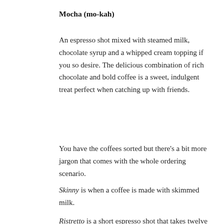Mocha (mo-kah)
An espresso shot mixed with steamed milk, chocolate syrup and a whipped cream topping if you so desire. The delicious combination of rich chocolate and bold coffee is a sweet, indulgent treat perfect when catching up with friends.
You have the coffees sorted but there’s a bit more jargon that comes with the whole ordering scenario.
Skinny is when a coffee is made with skimmed milk.
Ristretto is a short espresso shot that takes twelve
Privacy & Cookies: This site uses cookies. By continuing to use this website, you agree to their use.
To find out more, including how to control cookies, see here: Cookie Policy
Close and accept